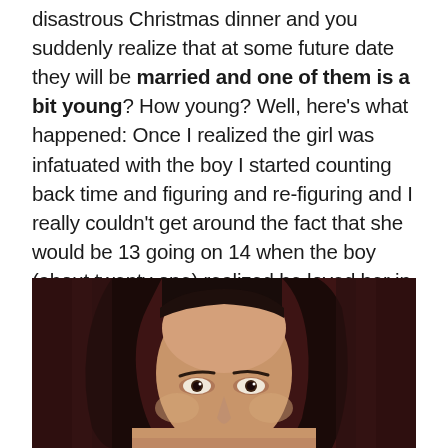disastrous Christmas dinner and you suddenly realize that at some future date they will be married and one of them is a bit young? How young? Well, here's what happened: Once I realized the girl was infatuated with the boy I started counting back time and figuring and re-figuring and I really couldn't get around the fact that she would be 13 going on 14 when the boy (about twenty one) realized he loved her in return. Mind you, once the idea arrived there was no going back–they HAD to be together!
[Figure (photo): Partial face of a person with long dark hair against a dark reddish-brown background, cropped to show only the top portion of the face/head.]